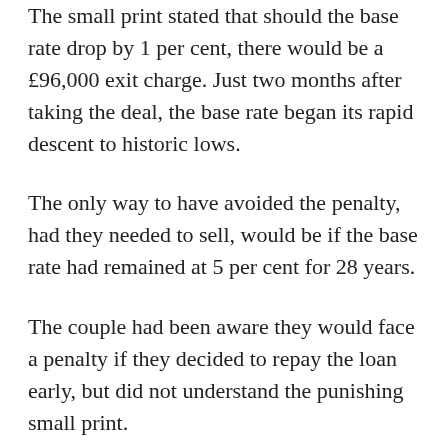The small print stated that should the base rate drop by 1 per cent, there would be a £96,000 exit charge. Just two months after taking the deal, the base rate began its rapid descent to historic lows.
The only way to have avoided the penalty, had they needed to sell, would be if the base rate had remained at 5 per cent for 28 years.
The couple had been aware they would face a penalty if they decided to repay the loan early, but did not understand the punishing small print.
So when Jane was handed a settlement figure of £996,572, including interest, the original loan